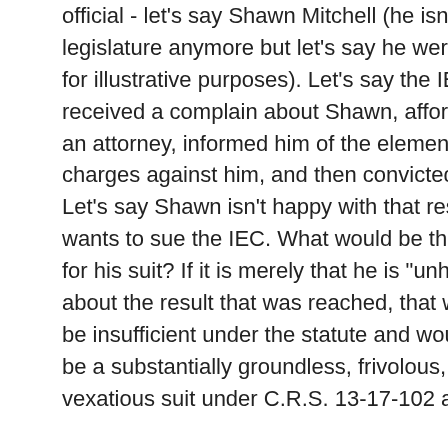official - let's say Shawn Mitchell (he isn't in legislature anymore but let's say he were back for illustrative purposes). Let's say the IEC received a complain about Shawn, afforded him an attorney, informed him of the elements of the charges against him, and then convicted him. Let's say Shawn isn't happy with that result and wants to sue the IEC. What would be the basis for his suit? If it is merely that he is "unhappy" about the result that was reached, that would be insufficient under the statute and would likely be a substantially groundless, frivolous, and/or vexatious suit under C.R.S. 13-17-102 as